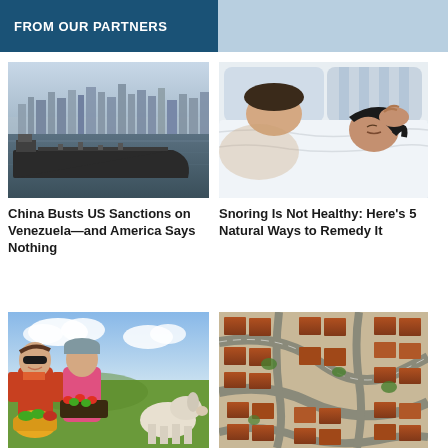FROM OUR PARTNERS
[Figure (photo): Oil tanker on water with city skyline in background under hazy sky]
China Busts US Sanctions on Venezuela—and America Says Nothing
[Figure (photo): Two people lying in bed, one appears to be snoring while the other holds their head in discomfort]
Snoring Is Not Healthy: Here's 5 Natural Ways to Remedy It
[Figure (photo): People outdoors smiling, one holding a tray of vegetables, farm/garden setting]
[Figure (photo): Aerial view of a suburban neighborhood with curved streets and red-roofed houses]